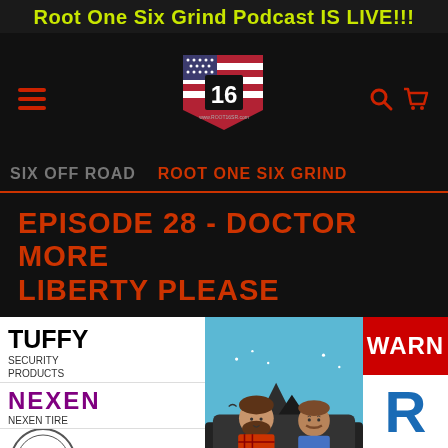Root One Six Grind Podcast IS LIVE!!!
[Figure (logo): Root One Six logo with American flag and number 16, black background]
SIX OFF ROAD   ROOT ONE SIX GRIND
EPISODE 28 - DOCTOR MORE LIBERTY PLEASE
[Figure (illustration): Sponsor logos: Tuffy Security Products, Nexen Tire, Sea State on left; podcast cartoon illustration of two bearded men in center; Warn and blue R logo on right]